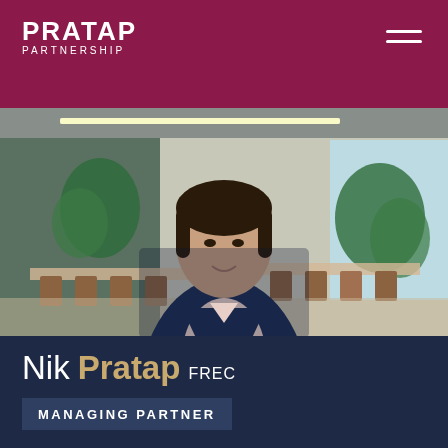PRATAP PARTNERSHIP
[Figure (photo): Professional headshot of Nik Pratap standing in a modern office/co-working space. He is wearing a navy blazer over a light pink shirt, smiling, with blurred background showing tables, chairs, and greenery.]
Nik Pratap FREC
MANAGING PARTNER